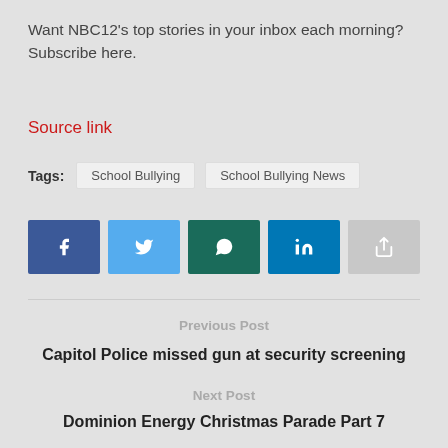Want NBC12's top stories in your inbox each morning? Subscribe here.
Source link
Tags: School Bullying  School Bullying News
[Figure (infographic): Social share buttons for Facebook, Twitter, WhatsApp, LinkedIn, and a generic share button]
Previous Post
Capitol Police missed gun at security screening
Next Post
Dominion Energy Christmas Parade Part 7